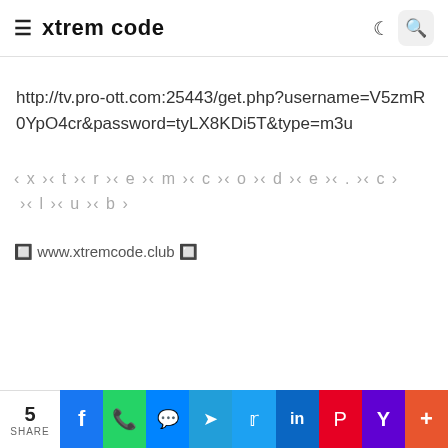xtrem code
http://tv.pro-ott.com:25443/get.php?username=V5zmR0YpO4cr&password=tyLX8KDi5T&type=m3u
( x )( t )( r )( e )( m )( c )( o )( d )( e )( . )( c )( l )( u )( b )
🔲 www.xtremcode.club 🔲
5 SHARE | Facebook | WhatsApp | Messenger | Telegram | Twitter | LinkedIn | Pinterest | Yammer | More